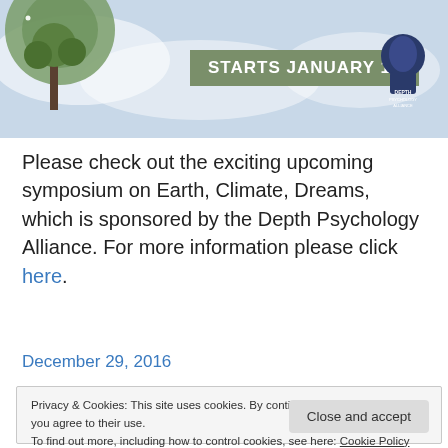[Figure (illustration): Banner image with earth/tree illustration, 'STARTS JANUARY 19' green badge, and Depth Psychology Alliance logo on right]
Please check out the exciting upcoming symposium on Earth, Climate, Dreams, which is sponsored by the Depth Psychology Alliance. For more information please click here.
December 29, 2016
Privacy & Cookies: This site uses cookies. By continuing to use this website, you agree to their use.
To find out more, including how to control cookies, see here: Cookie Policy